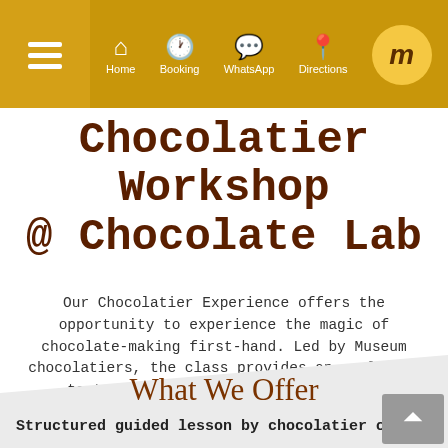Home | Booking | WhatsApp | Directions
Chocolatier Workshop @ Chocolate Lab
Our Chocolatier Experience offers the opportunity to experience the magic of chocolate-making first-hand. Led by Museum chocolatiers, the class provides an exclusive taster into the world of chocolates.
What We Offer
Structured guided lesson by chocolatier on: